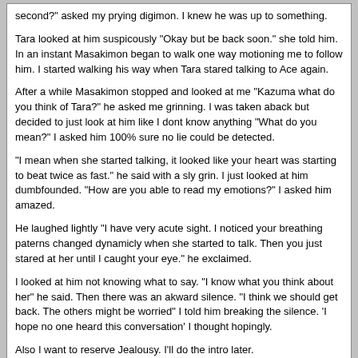second?" asked my prying digimon. I knew he was up to something.

Tara looked at him suspicously "Okay but be back soon." she told him. In an instant Masakimon began to walk one way motioning me to follow him. I started walking his way when Tara stared talking to Ace again.

After a while Masakimon stopped and looked at me "Kazuma what do you think of Tara?" he asked me grinning. I was taken aback but decided to just look at him like I dont know anything "What do you mean?" I asked him 100% sure no lie could be detected.

"I mean when she started talking, it looked like your heart was starting to beat twice as fast." he said with a sly grin. I just looked at him dumbfounded. "How are you able to read my emotions?" I asked him amazed.

He laughed lightly "I have very acute sight. I noticed your breathing paterns changed dynamicly when she started to talk. Then you just stared at her until I caught your eye." he exclaimed.

I looked at him not knowing what to say. "I know what you think about her" he said. Then there was an akward silence. "I think we should get back. The others might be worried" I told him breaking the silence. 'I hope no one heard this conversation' I thought hopingly.


Also I want to reserve Jealousy. I'll do the intro later.
Gladiator	8th August 2003, 06:41 PM
I'm one of the first Good people to get a Digiegg. Do you have anything special planned or am I gonna have to ad-lib the whole thing.

Axehelm
--------------------------------------------------------------------------------
Axehelm stood there, silently, as Tara explained to him everything that a Digimon was. Taking all this in, he turned his head one way and another to get a view of the group. His eyes turned to one boy, almost same like it seemed